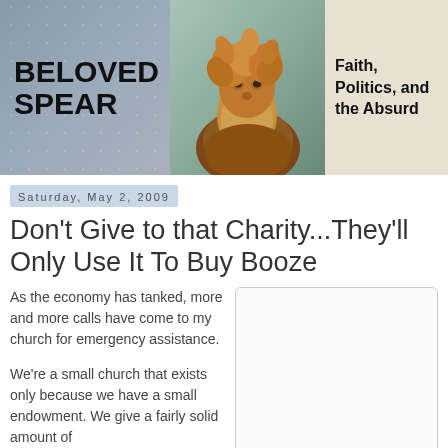[Figure (illustration): Blog header banner with three sections: left shows 'BELOVED SPEAR' text over a muted blue-grey flag background, center shows an oil painting of a bearded man with wild hair, right shows text 'Faith, Politics, and the Absurd' on a tan/cream background]
Saturday, May 2, 2009
Don't Give to that Charity...They'll Only Use It To Buy Booze
As the economy has tanked, more and more calls have come to my church for emergency assistance.
We're a small church that exists only because we have a small endowment. We give a fairly solid amount of